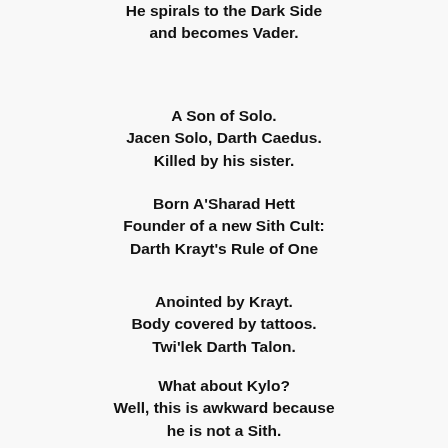He spirals to the Dark Side
and becomes Vader.
A Son of Solo.
Jacen Solo, Darth Caedus.
Killed by his sister.
Born A'Sharad Hett
Founder of a new Sith Cult:
Darth Krayt's Rule of One
Anointed by Krayt.
Body covered by tattoos.
Twi'lek Darth Talon.
What about Kylo?
Well, this is awkward because
he is not a Sith.
Haiku Addendum: